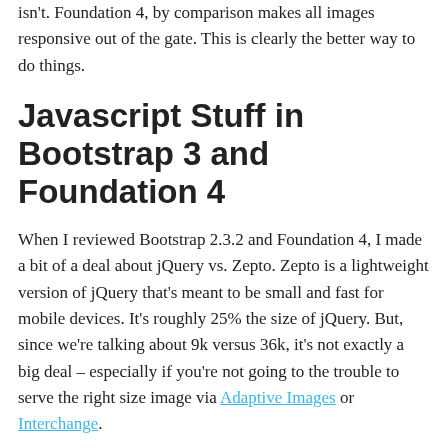isn't. Foundation 4, by comparison makes all images responsive out of the gate. This is clearly the better way to do things.
Javascript Stuff in Bootstrap 3 and Foundation 4
When I reviewed Bootstrap 2.3.2 and Foundation 4, I made a bit of a deal about jQuery vs. Zepto. Zepto is a lightweight version of jQuery that's meant to be small and fast for mobile devices. It's roughly 25% the size of jQuery. But, since we're talking about 9k versus 36k, it's not exactly a big deal – especially if you're not going to the trouble to serve the right size image via Adaptive Images or Interchange.
In cases where Zepto fails, Foundation is